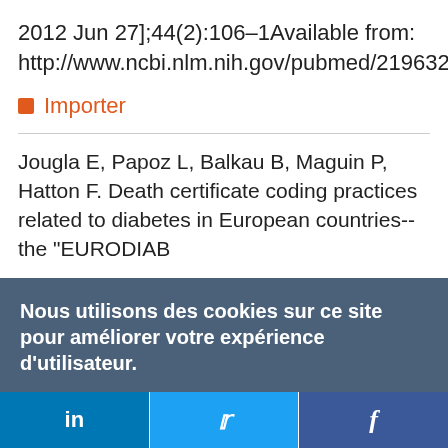2012 Jun 27];44(2):106–1Available from: http://www.ncbi.nlm.nih.gov/pubmed/2196328
Importer
Jougla E, Papoz L, Balkau B, Maguin P, Hatton F. Death certificate coding practices related to diabetes in European countries--the "EURODIAB
Nous utilisons des cookies sur ce site pour améliorer votre expérience d'utilisateur.
En cliquant sur un lien de cette page, vous nous donnez votre consentement de définir des cookies.
Oui, je suis d'accord
Plus d'infos
in  f